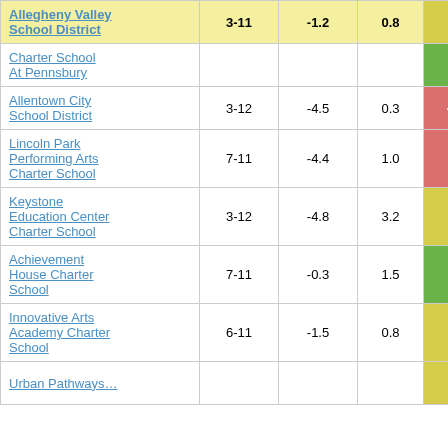| School/District | Grades | Col3 | Col4 | Score |
| --- | --- | --- | --- | --- |
| Allegheny Valley School District | 3-11 | -1.2 | 0.8 | -1.50 |
| Charter School At Pennsbury |  |  |  |  |
| Allentown City School District | 3-12 | -4.5 | 0.3 | -13.48 |
| Lincoln Park Performing Arts Charter School | 7-11 | -4.4 | 1.0 | -4.17 |
| Keystone Education Center Charter School | 3-12 | -4.8 | 3.2 | -1.50 |
| Achievement House Charter School | 7-11 | -0.3 | 1.5 | -0.17 |
| Innovative Arts Academy Charter School | 6-11 | -1.5 | 0.8 | -1.78 |
| Urban Pathways… |  |  |  |  |